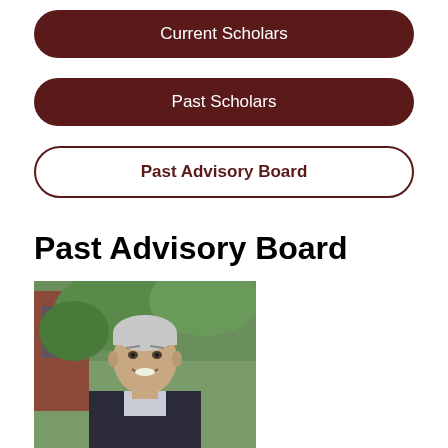Current Scholars
Past Scholars
Past Advisory Board
Past Advisory Board
[Figure (photo): Headshot of a middle-aged man with gray hair, smiling, wearing a dark blazer, photographed outdoors with red brick building and green foliage in background.]